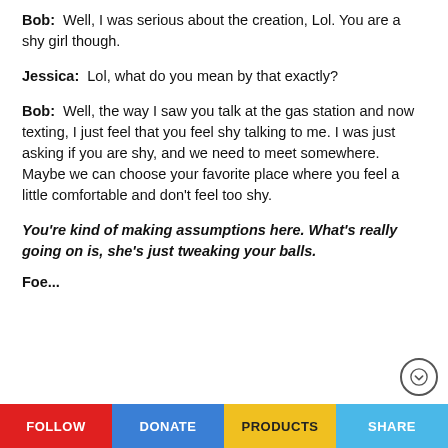Bob:  Well, I was serious about the creation, Lol. You are a shy girl though.
Jessica:  Lol, what do you mean by that exactly?
Bob:  Well, the way I saw you talk at the gas station and now texting, I just feel that you feel shy talking to me. I was just asking if you are shy, and we need to meet somewhere. Maybe we can choose your favorite place where you feel a little comfortable and don't feel too shy.
You're kind of making assumptions here. What's really going on is, she's just tweaking your balls.
Foe...
FOLLOW   DONATE   PRODUCTS   SHARE